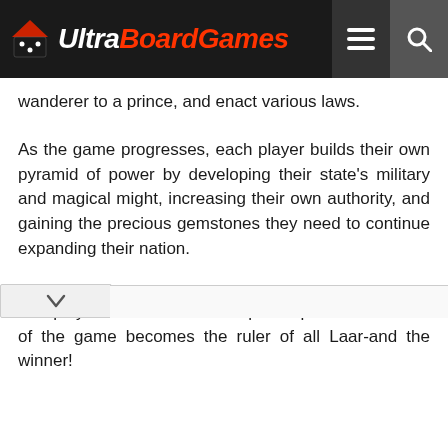Ultra BoardGames
wanderer to a prince, and enact various laws.
As the game progresses, each player builds their own pyramid of power by developing their state's military and magical might, increasing their own authority, and gaining the precious gemstones they need to continue expanding their nation.
The player who has the most power points at the end of the game becomes the ruler of all Laar-and the winner!